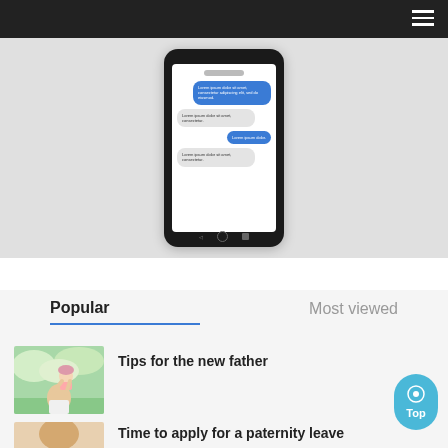Navigation bar with hamburger menu
[Figure (screenshot): Smartphone mockup showing a chat/messaging app interface with alternating blue (sent) and gray (received) chat bubbles on a light gray background]
Popular
Most viewed
Tips for the new father
[Figure (photo): A father holding a baby up in the air outdoors with blossoming trees in the background]
Time to apply for a paternity leave
[Figure (photo): A bald man, cropped at the bottom of the page]